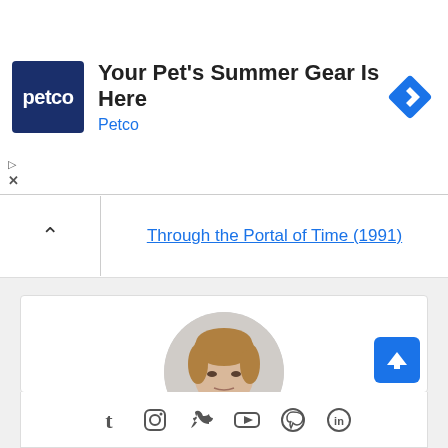[Figure (infographic): Petco advertisement banner with logo, title 'Your Pet's Summer Gear Is Here', subtitle 'Petco', and a blue diamond navigation icon]
Through the Portal of Time (1991)
[Figure (photo): Circular profile photo of a young man with brown hair wearing a light blue shirt]
Stu
Interests include:: coffee, jackhammers, grandma's medicine cabinet and sympathetic yawning.
[Figure (infographic): Social media icons row: Tumblr, Instagram, Twitter, YouTube, Pinterest, and another icon]